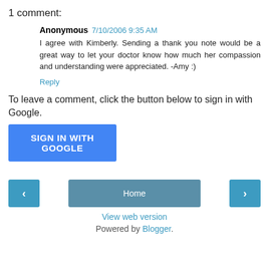1 comment:
Anonymous  7/10/2006 9:35 AM
I agree with Kimberly. Sending a thank you note would be a great way to let your doctor know how much her compassion and understanding were appreciated. -Amy :)
Reply
To leave a comment, click the button below to sign in with Google.
SIGN IN WITH GOOGLE
< Home >
View web version
Powered by Blogger.